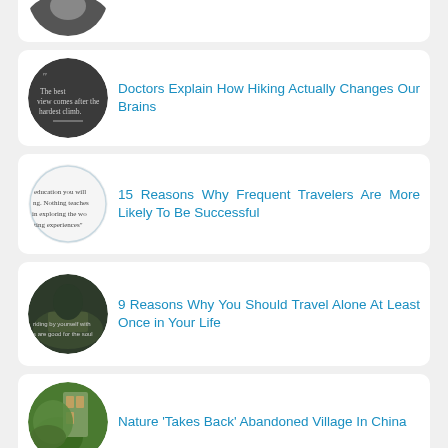[Figure (photo): Partial circular thumbnail, top cut off, dark image]
Doctors Explain How Hiking Actually Changes Our Brains
[Figure (photo): Circular thumbnail with quote text: The best view comes after the hardest climb]
15 Reasons Why Frequent Travelers Are More Likely To Be Successful
[Figure (photo): Circular thumbnail with quote text about traveling by yourself]
9 Reasons Why You Should Travel Alone At Least Once in Your Life
[Figure (photo): Circular thumbnail showing green overgrown village]
Nature 'Takes Back' Abandoned Village In China
[Figure (photo): Circular thumbnail showing bears]
Bears Kept Stealing Honey From A Man's Bee Farm, So He Turned Them Into Honey Tasters